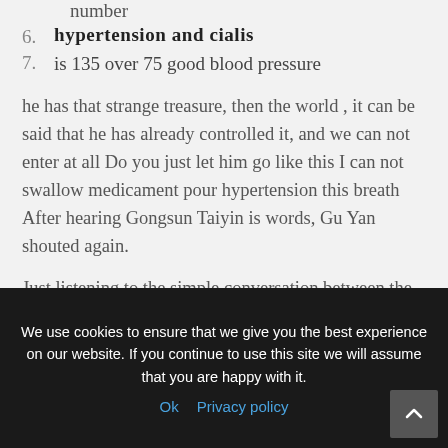number
6. hypertension and cialis
7. is 135 over 75 good blood pressure
he has that strange treasure, then the world , it can be said that he has already controlled it, and we can not enter at all Do you just let him go like this I can not swallow medicament pour hypertension this breath After hearing Gongsun Taiyin is words, Gu Yan shouted again.
Just listening to the simple conversation between the two, Huo Yu felt that he had understood
We use cookies to ensure that we give you the best experience on our website. If you continue to use this site we will assume that you are happy with it.